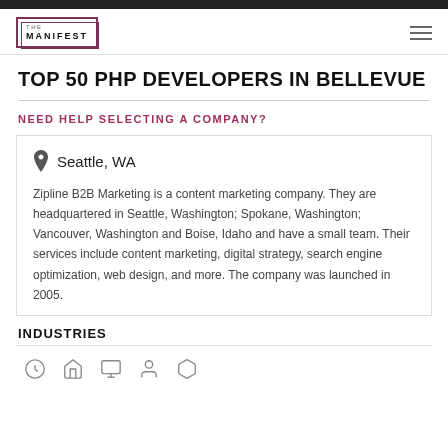THE MANIFEST
TOP 50 PHP DEVELOPERS IN BELLEVUE
NEED HELP SELECTING A COMPANY?
Seattle, WA
Zipline B2B Marketing is a content marketing company. They are headquartered in Seattle, Washington; Spokane, Washington; Vancouver, Washington and Boise, Idaho and have a small team. Their services include content marketing, digital strategy, search engine optimization, web design, and more. The company was launched in 2005.
INDUSTRIES